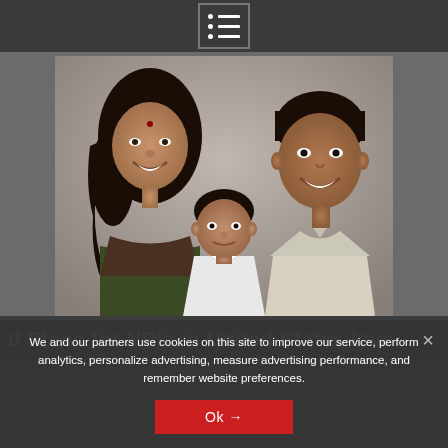[Figure (photo): Top navigation bar with a list/menu icon (bullet list icon in a bordered box) on a dark gray background]
[Figure (photo): Portrait photo of an Indian family: a woman on the left with dark curly hair wearing a sari, a young toddler boy in the center in a white shirt, and a man on the right smiling, all against a gray studio background]
d Plans for NRIs in United States Inve
We and our partners use cookies on this site to improve our service, perform analytics, personalize advertising, measure advertising performance, and remember website preferences.
Ok →